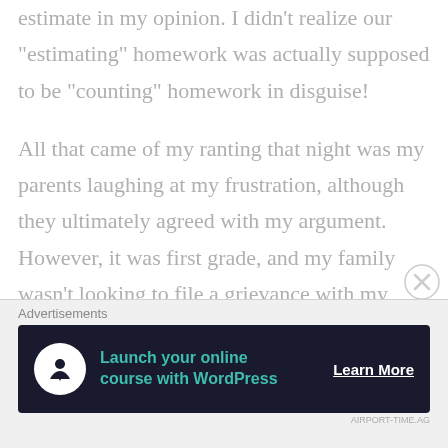estimate in my opinion. I didn’t realize our “estimating” homework was actually supposed to be “counting” homework in disguise!
All that came of my ranting that night was my parents laughing at my frustration, although they ultimately agreed with my argument. However, it was first grade, and my family wasn’t looking to file a grievance with my teacher over 5 points.
Advertisements
[Figure (other): Advertisement banner: dark navy background with tree/person icon in white circle, teal text 'Launch your online course with WordPress', white underlined 'Learn More' call-to-action button.]